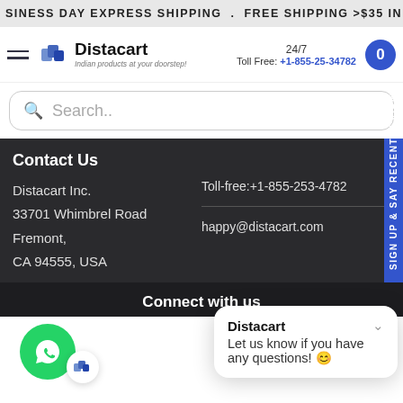BUSINESS DAY EXPRESS SHIPPING . FREE SHIPPING >$35 IN USA
[Figure (logo): Distacart logo with tagline 'Indian products at your doorstep']
24/7 Toll Free: +1-855-25-34782
Search..
Contact Us
Toll-free:+1-855-253-4782
Distacart Inc.
33701 Whimbrel Road
Fremont,
CA 94555, USA
happy@distacart.com
Connect with us
Distacart
Let us know if you have any questions! 😊